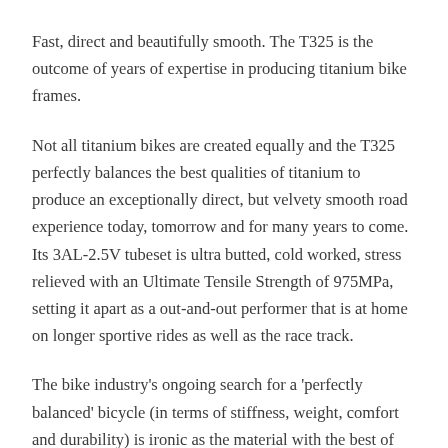Fast, direct and beautifully smooth. The T325 is the outcome of years of expertise in producing titanium bike frames.
Not all titanium bikes are created equally and the T325 perfectly balances the best qualities of titanium to produce an exceptionally direct, but velvety smooth road experience today, tomorrow and for many years to come. Its 3AL-2.5V tubeset is ultra butted, cold worked, stress relieved with an Ultimate Tensile Strength of 975MPa, setting it apart as a out-and-out performer that is at home on longer sportive rides as well as the race track.
The bike industry's ongoing search for a 'perfectly balanced' bicycle (in terms of stiffness, weight, comfort and durability) is ironic as the material with the best of these characteristics has existed for a long while - Titanium. It is stunningly lightweight and responsive for when the pace or road goes